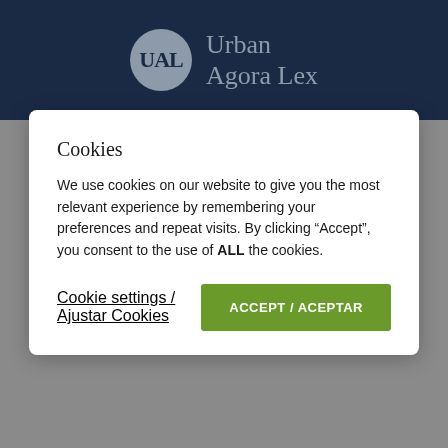[Figure (logo): Urban Agora Lex logo: circular grey badge with UAL letters in dark blue, next to text 'Urban Agora Lex' in grey serif font on dark navy background]
Cookies
We use cookies on our website to give you the most relevant experience by remembering your preferences and repeat visits. By clicking “Accept”, you consent to the use of ALL the cookies.
Cookie settings / Ajustar Cookies
ACCEPT / ACEPTAR